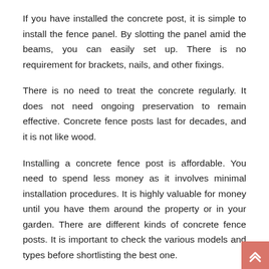If you have installed the concrete post, it is simple to install the fence panel. By slotting the panel amid the beams, you can easily set up. There is no requirement for brackets, nails, and other fixings.
There is no need to treat the concrete regularly. It does not need ongoing preservation to remain effective. Concrete fence posts last for decades, and it is not like wood.
Installing a concrete fence post is affordable. You need to spend less money as it involves minimal installation procedures. It is highly valuable for money until you have them around the property or in your garden. There are different kinds of concrete fence posts. It is important to check the various models and types before shortlisting the best one.